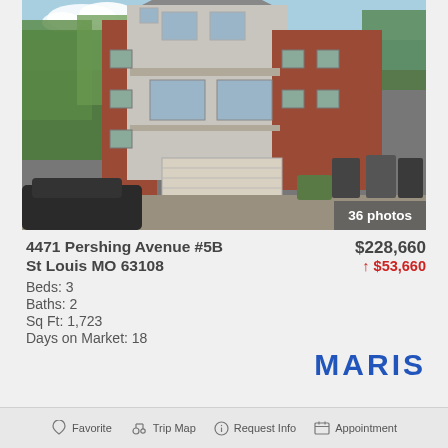[Figure (photo): Exterior photo of a multi-story brick and siding residential building at 4471 Pershing Avenue #5B, St Louis MO, showing three floors with windows, a garage door on the ground level, trees, parked car, and trash bins. Badge reads '36 photos'.]
4471 Pershing Avenue #5B
St Louis MO 63108
Beds: 3
Baths: 2
Sq Ft: 1,723
Days on Market: 18
$228,660
↑ $53,660
MARIS
Favorite   Trip Map   Request Info   Appointment